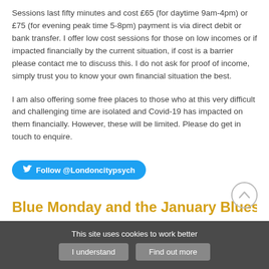Sessions last fifty minutes and cost £65 (for daytime 9am-4pm) or £75 (for evening peak time 5-8pm) payment is via direct debit or bank transfer. I offer low cost sessions for those on low incomes or if impacted financially by the current situation, if cost is a barrier please contact me to discuss this. I do not ask for proof of income, simply trust you to know your own financial situation the best.
I am also offering some free places to those who at this very difficult and challenging time are isolated and Covid-19 has impacted on them financially. However, these will be limited. Please do get in touch to enquire.
[Figure (other): Twitter follow button with bird icon linking to @Londoncitypsych]
Blue Monday and the January Blues - it
This site uses cookies to work better
I understand   Find out more